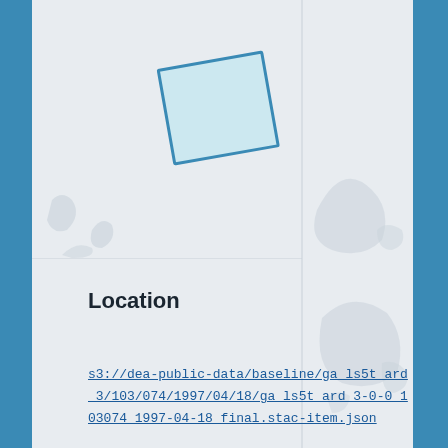[Figure (map): Interactive map showing Australia with a teal-bordered rectangle highlighting a region in the central-north area near Alice Springs. Map has zoom in/out controls. White/light grey map background with subtle geographic outlines.]
Location
s3://dea-public-data/baseline/ga_ls5t_ard_3/103/074/1997/04/18/ga_ls5t_ard_3-0-0_103074_1997-04-18_final.stac-item.json